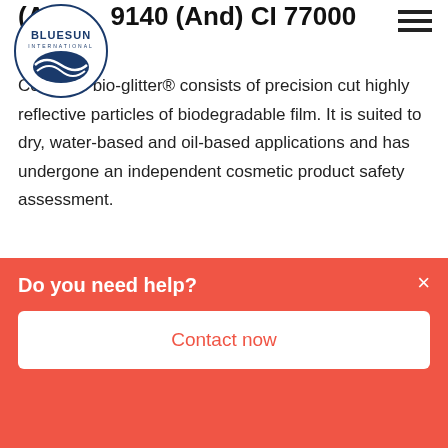(A... 9140 (And) CI 77000
[Figure (logo): Bluesun International circular logo with blue text and wave graphic]
Cosmetic bio-glitter® consists of precision cut highly reflective particles of biodegradable film. It is suited to dry, water-based and oil-based applications and has undergone an independent cosmetic product safety assessment.
REQUEST SAMPLE
BIOGLITTER SPARKLE -
Do you need help?
Contact now